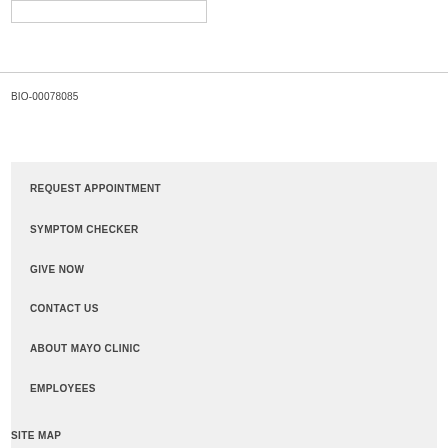[Figure (other): Empty bordered box at top left of page]
BIO-00078085
REQUEST APPOINTMENT
SYMPTOM CHECKER
GIVE NOW
CONTACT US
ABOUT MAYO CLINIC
EMPLOYEES
SITE MAP